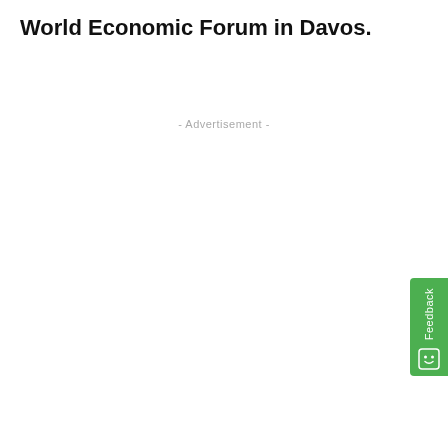World Economic Forum in Davos.
- Advertisement -
[Figure (other): Green feedback tab on the right side of the page with 'Feedback' text rotated vertically and a smiley face icon below it.]